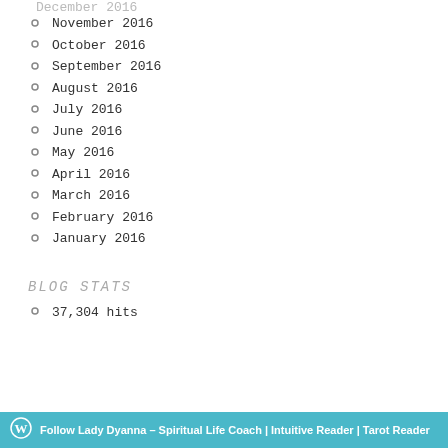November 2016
October 2016
September 2016
August 2016
July 2016
June 2016
May 2016
April 2016
March 2016
February 2016
January 2016
BLOG STATS
37,304 hits
Follow Lady Dyanna – Spiritual Life Coach | Intuitive Reader | Tarot Reader